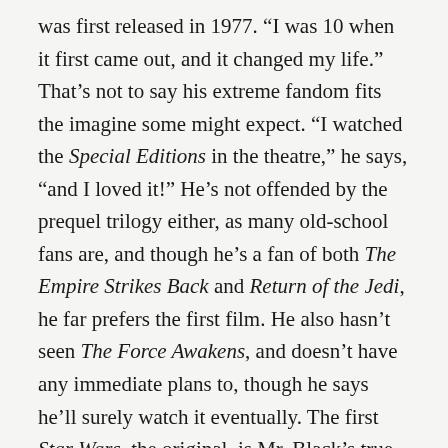was first released in 1977. “I was 10 when it first came out, and it changed my life.” That’s not to say his extreme fandom fits the imagine some might expect. “I watched the Special Editions in the theatre,” he says, “and I loved it!” He’s not offended by the prequel trilogy either, as many old-school fans are, and though he’s a fan of both The Empire Strikes Back and Return of the Jedi, he far prefers the first film. He also hasn’t seen The Force Awakens, and doesn’t have any immediate plans to, though he says he’ll surely watch it eventually. The first Star Wars, the original, is Mr. Black’s true love. That love is why he’s devoted so much time, money, and effort to the restoration.